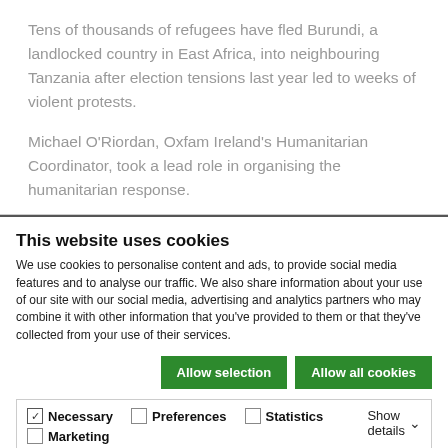Tens of thousands of refugees have fled Burundi, a landlocked country in East Africa, into neighbouring Tanzania after election tensions last year led to weeks of violent protests.
Michael O'Riordan, Oxfam Ireland's Humanitarian Coordinator, took a lead role in organising the humanitarian response.
This website uses cookies
We use cookies to personalise content and ads, to provide social media features and to analyse our traffic. We also share information about your use of our site with our social media, advertising and analytics partners who may combine it with other information that you've provided to them or that they've collected from your use of their services.